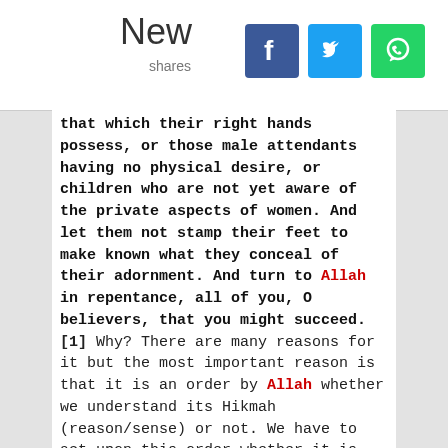[Figure (infographic): Social share header with 'New shares' text and Facebook, Twitter, WhatsApp icons]
that which their right hands possess, or those male attendants having no physical desire, or children who are not yet aware of the private aspects of women. And let them not stamp their feet to make known what they conceal of their adornment. And turn to Allah in repentance, all of you, O believers, that you might succeed. [1] Why? There are many reasons for it but the most important reason is that it is an order by Allah whether we understand its Hikmah (reason/sense) or not. We have to act upon this order whether it is our heart's desire or not. An important aspect of asking women to cover their hair